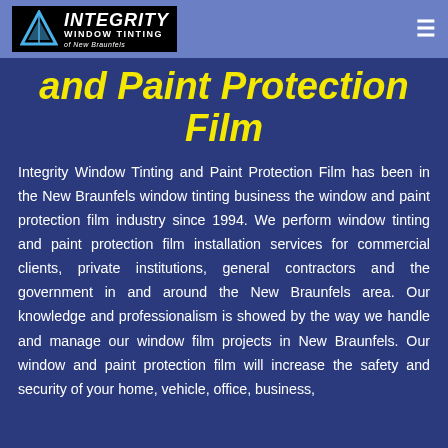Integrity Window Tinting of New Braunfels
and Paint Protection Film
Integrity Window Tinting and Paint Protection Film has been in the New Braunfels window tinting business the window and paint protection film industry since 1994. We perform window tinting and paint protection film installation services for commercial clients, private institutions, general contractors and the government in and around the New Braunfels area. Our knowledge and professionalism is showed by the way we handle and manage our window film projects in New Braunfels. Our window and paint protection film will increase the safety and security of your home, vehicle, office, business,